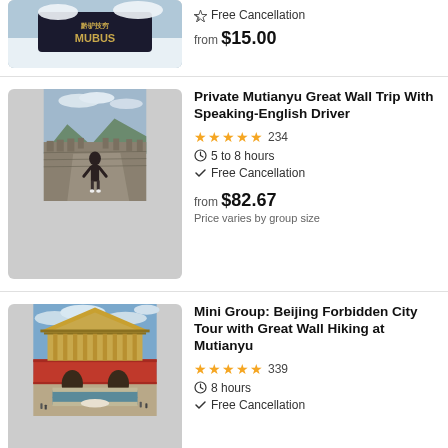[Figure (photo): Partial top of a listing card showing MUBUS logo/banner in snow environment]
Free Cancellation
from $15.00
[Figure (photo): Woman standing on the Great Wall of China at Mutianyu section, stone path leading into distance, mountains in background]
Private Mutianyu Great Wall Trip With Speaking-English Driver
★★★★★ 234
5 to 8 hours
Free Cancellation
from $82.67
Price varies by group size
[Figure (photo): Forbidden City in Beijing with golden-roofed imperial buildings, red walls, blue sky with clouds, and canal in foreground]
Mini Group: Beijing Forbidden City Tour with Great Wall Hiking at Mutianyu
★★★★★ 339
8 hours
Free Cancellation